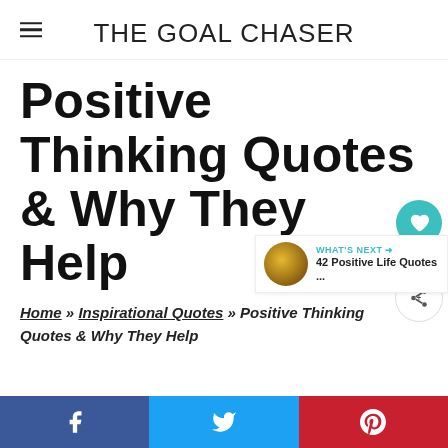THE GOAL CHASER
Positive Thinking Quotes & Why They Help
Home » Inspirational Quotes » Positive Thinking Quotes & Why They Help
[Figure (infographic): Social share sidebar with heart/like button showing count 2 and share icon]
[Figure (infographic): What's Next bar with thumbnail and text: 42 Positive Life Quotes ...]
[Figure (infographic): Social sharing buttons: Facebook (f), Twitter (bird), Pinterest (P)]